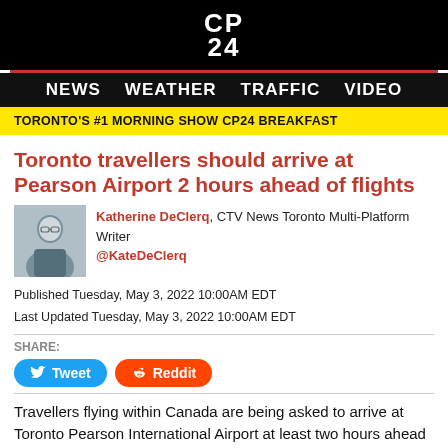[Figure (logo): CP24 logo in white on black background]
NEWS  WEATHER  TRAFFIC  VIDEO
TORONTO'S #1 MORNING SHOW CP24 BREAKFAST
Toronto travellers should arrive at Pearson Airport 2 hours ahead of flights
Katherine DeClerq, CTV News Toronto Multi-Platform Writer @KateDeClerq
Published Tuesday, May 3, 2022 10:00AM EDT
Last Updated Tuesday, May 3, 2022 10:00AM EDT
SHARE:
Travellers flying within Canada are being asked to arrive at Toronto Pearson International Airport at least two hours ahead of their flights amid longer-than-usual delays at